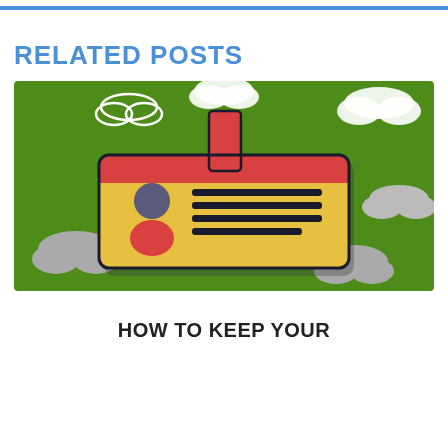RELATED POSTS
[Figure (illustration): Illustration of an ID card / badge on a green background with clouds. The badge is golden/yellow with a red top strip, a bookmark ribbon sticking up, a person silhouette icon on the left, and horizontal lines representing text fields on the right. Several white and grey clouds float around the background.]
HOW TO KEEP YOUR